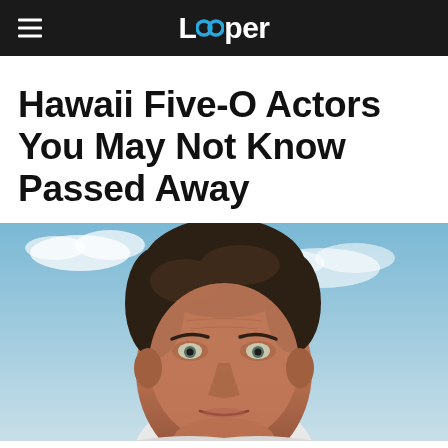Looper
Hawaii Five-O Actors You May Not Know Passed Away
[Figure (photo): Close-up photo of a middle-aged man with dark hair looking upward, against a blue sky with clouds background. The man is wearing a light-colored shirt.]